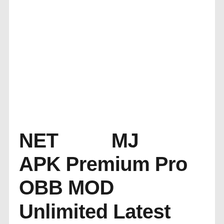NET         MJ                | APK Premium Pro OBB MOD Unlimited Latest Version Application Donwload
Download NET         MJ         Casino APK Premium Pro OBB MOD Unlimited Latest Version of mobile application